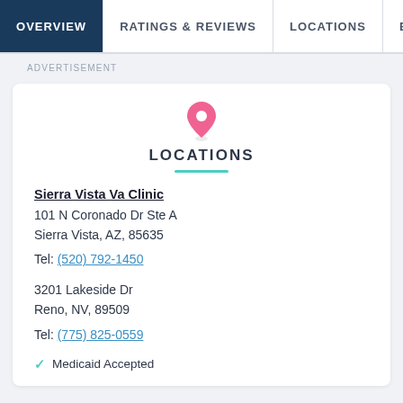OVERVIEW | RATINGS & REVIEWS | LOCATIONS | EX...
ADVERTISEMENT
LOCATIONS
Sierra Vista Va Clinic
101 N Coronado Dr Ste A
Sierra Vista, AZ, 85635
Tel: (520) 792-1450
3201 Lakeside Dr
Reno, NV, 89509
Tel: (775) 825-0559
Medicaid Accepted